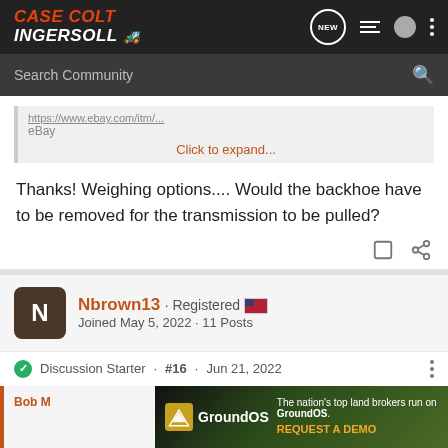Case Colt Ingersoll
Search Community
eBay
Click to expand...
Thanks! Weighing options.... Would the backhoe have to be removed for the transmission to be pulled?
Nbrown13 · Registered
Joined May 5, 2022 · 11 Posts
Discussion Starter · #16 · Jun 21, 2022
[Figure (screenshot): GroundOS advertisement banner: The nation's top land brokers run on GroundOS. REQUEST A DEMO]
Bob M...